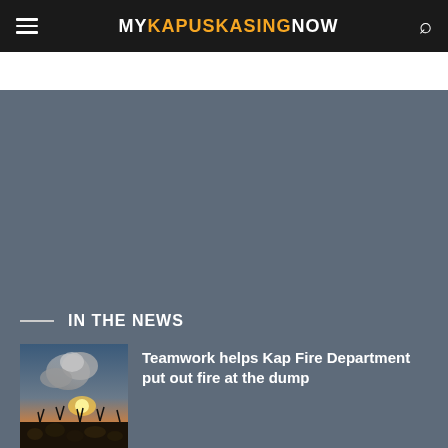MY KAPUSKASING NOW
IN THE NEWS
[Figure (photo): Fire scene with a large smoke cloud rising above burning debris at sunset, with foreground showing burned/charred plant remains.]
Teamwork helps Kap Fire Department put out fire at the dump